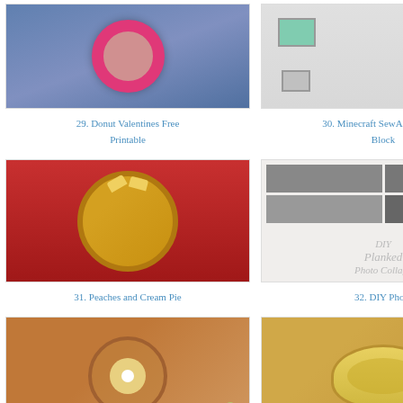[Figure (photo): Donut Valentines card/printable with blue/purple background]
29. Donut Valentines Free Printable
[Figure (photo): Minecraft SewAlong Alex Block craft project on paper]
30. Minecraft SewAlong: Alex Block
[Figure (photo): Peaches and Cream Pie on red plate with peach slices on top]
31. Peaches and Cream Pie
[Figure (photo): DIY Planked Photo Collage with black and white photos and DIY label]
32. DIY Photo
[Figure (photo): Chicken Taco salad in taco bowl with toppings]
33. Chicken Taco salad
[Figure (photo): Eggs Benedict on plate with hollandaise sauce]
34. Eggs Benedict